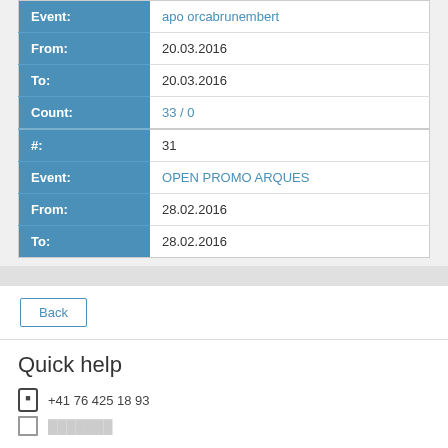| Field | Value |
| --- | --- |
| Event: | apo orcabrunembert |
| From: | 20.03.2016 |
| To: | 20.03.2016 |
| Count: | 33 / 0 |
| #: | 31 |
| Event: | OPEN PROMO ARQUES |
| From: | 28.02.2016 |
| To: | 28.02.2016 |
1
Back
Quick help
+41 76 425 18 93